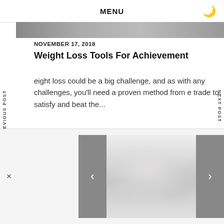MENU
NOVEMBER 17, 2018
Weight Loss Tools For Achievement
eight loss could be a big challenge, and as with any challenges, you'll need a proven method from e trade to satisfy and beat the...
[Figure (photo): Fitness class photo showing people exercising]
PREVIOUS POST
NEXT POST
[Figure (photo): Two people in a medical consultation setting]
Reasons for Peyronie's Disease in Men